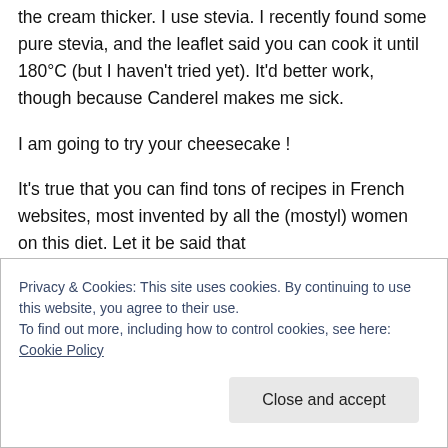the cream thicker. I use stevia. I recently found some pure stevia, and the leaflet said you can cook it until 180°C (but I haven't tried yet). It'd better work, though because Canderel makes me sick.
I am going to try your cheesecake !
It's true that you can find tons of recipes in French websites, most invented by all the (mostyl) women on this diet. Let it be said that
Privacy & Cookies: This site uses cookies. By continuing to use this website, you agree to their use.
To find out more, including how to control cookies, see here: Cookie Policy